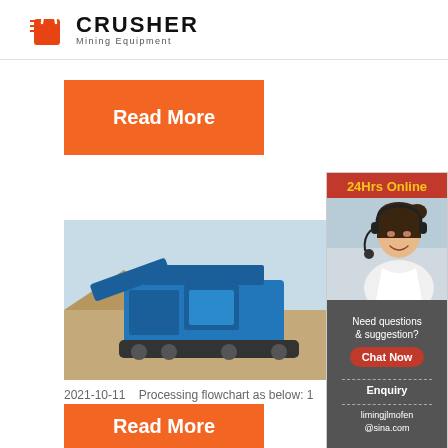[Figure (logo): CRUSHER Mining Equipment logo with red shopping bag icon on left and bold black text]
[Figure (other): Orange Read More button]
[Figure (photo): Blue mobile jaw crusher machine on a construction site with sandy terrain and clear sky]
Colta column mining - walk
2021-10-11   Processing flowchart as below: 1
[Figure (other): Orange Read More button]
[Figure (other): Right sidebar: 24Hrs Online with customer service representative photo, Need questions & suggestion? Chat Now, Enquiry, limingjlmofen@sina.com]